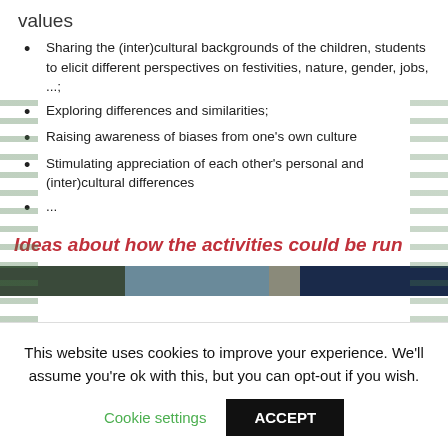values
Sharing the (inter)cultural backgrounds of the children, students to elicit different perspectives on festivities, nature, gender, jobs, ...;
Exploring differences and similarities;
Raising awareness of biases from one’s own culture
Stimulating appreciation of each other’s personal and (inter)cultural differences
...
Ideas about how the activities could be run
[Figure (photo): Horizontal strip of photos showing classroom or activity scenes]
This website uses cookies to improve your experience. We’ll assume you’re ok with this, but you can opt-out if you wish.
Cookie settings   ACCEPT